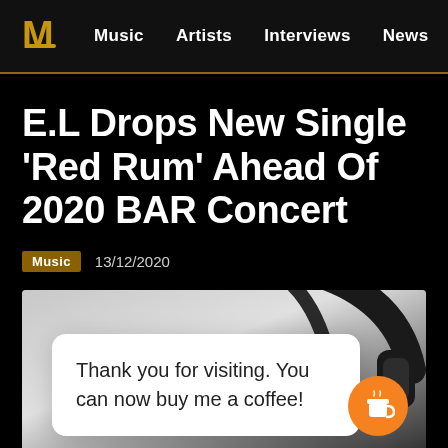Music  Artists  Interviews  News
E.L Drops New Single ‘Red Rum’ Ahead Of 2020 BAR Concert
Music  13/12/2020
[Figure (photo): Photo of headphones with a popup overlay card reading 'Thank you for visiting. You can now buy me a coffee!' and an orange coffee cup button icon]
Thank you for visiting. You can now buy me a coffee!